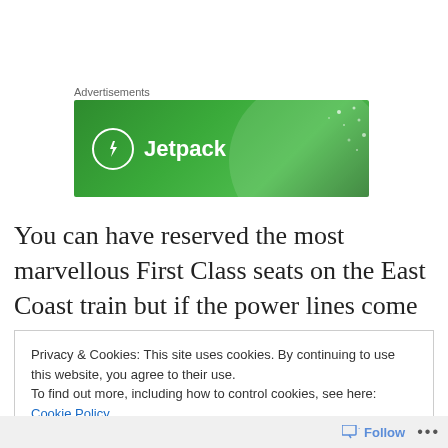Advertisements
[Figure (logo): Jetpack advertisement banner — green background with Jetpack logo (lightning bolt in circle) and text 'Jetpack']
You can have reserved the most marvellous First Class seats on the East Coast train but if the power lines come down you’re still on the pavement at Peterborough with everyone else.
Privacy & Cookies: This site uses cookies. By continuing to use this website, you agree to their use.
To find out more, including how to control cookies, see here: Cookie Policy
Close and accept